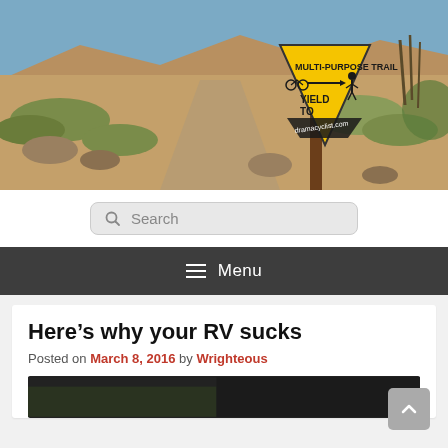[Figure (photo): Desert trail landscape with a yellow triangular multi-purpose trail sign reading 'MULTI-PURPOSE TRAIL YIELD TO' mounted on a wooden post, desert scrub and rocky hills in background.]
Search
Menu
Here’s why your RV sucks
Posted on March 8, 2016 by Wrighteous
[Figure (photo): Partial view of a photo thumbnail at the bottom of the page (content not fully visible).]